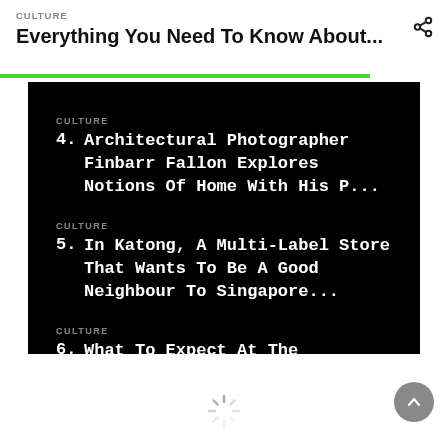CULTURE
Everything You Need To Know About...
CULTURE
4. Architectural Photographer Finbarr Fallon Explores Notions Of Home With His P...
CULTURE
5. In Katong, A Multi-Label Store That Wants To Be A Good Neighbour To Singapore...
CULTURE
6. What To Expect At The Projector X: Picturehouse Cinema Pop-Up